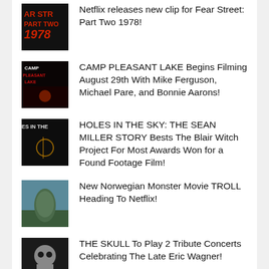Netflix releases new clip for Fear Street: Part Two 1978!
CAMP PLEASANT LAKE Begins Filming August 29th With Mike Ferguson, Michael Pare, and Bonnie Aarons!
HOLES IN THE SKY: THE SEAN MILLER STORY Bests The Blair Witch Project For Most Awards Won for a Found Footage Film!
New Norwegian Monster Movie TROLL Heading To Netflix!
THE SKULL To Play 2 Tribute Concerts Celebrating The Late Eric Wagner!
Archives
August 2022